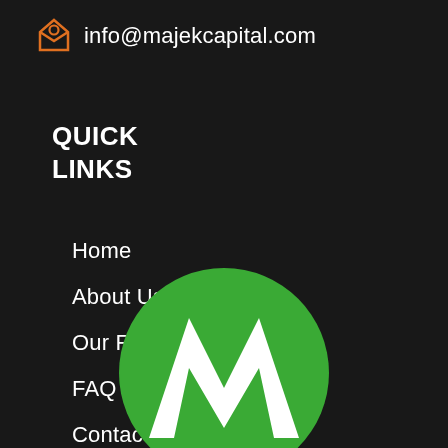info@majekcapital.com
QUICK LINKS
Home
About Us
Our Rates
FAQ
Contact Us
[Figure (logo): Majek Capital green circular logo with white M letter mark, partially visible at bottom of page]